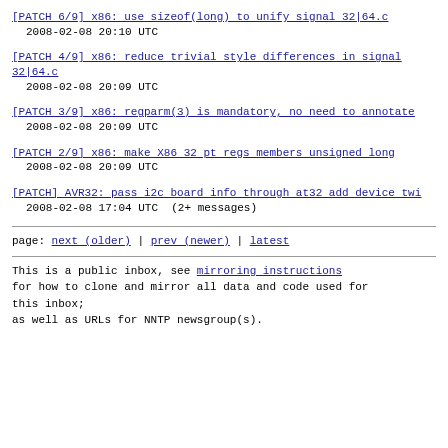[PATCH 6/9] x86: use sizeof(long) to unify signal 32|64.c
2008-02-08 20:10 UTC
[PATCH 4/9] x86: reduce trivial style differences in signal 32|64.c
2008-02-08 20:09 UTC
[PATCH 3/9] x86: regparm(3) is mandatory, no need to annotate
2008-02-08 20:09 UTC
[PATCH 2/9] x86: make X86_32 pt_regs members unsigned long
2008-02-08 20:09 UTC
[PATCH] AVR32: pass i2c board info through at32_add_device_twi
2008-02-08 17:04 UTC  (2+ messages)
page: next (older) | prev (newer) | latest
This is a public inbox, see mirroring instructions
for how to clone and mirror all data and code used for this inbox;
as well as URLs for NNTP newsgroup(s).